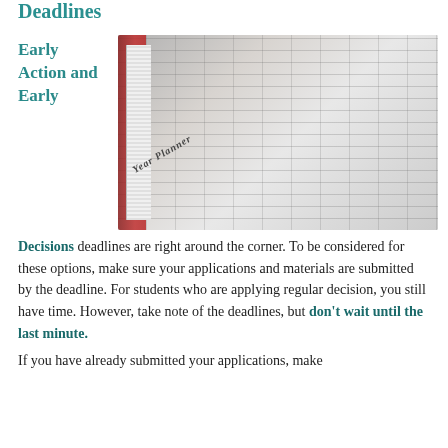Deadlines
Early Action and Early
[Figure (photo): A year planner book open showing a grid calendar with months, weeks, and columns for scheduling. The book has a red spine and multiple pages visible.]
Decisions deadlines are right around the corner. To be considered for these options, make sure your applications and materials are submitted by the deadline. For students who are applying regular decision, you still have time. However, take note of the deadlines, but don't wait until the last minute.
If you have already submitted your applications, make